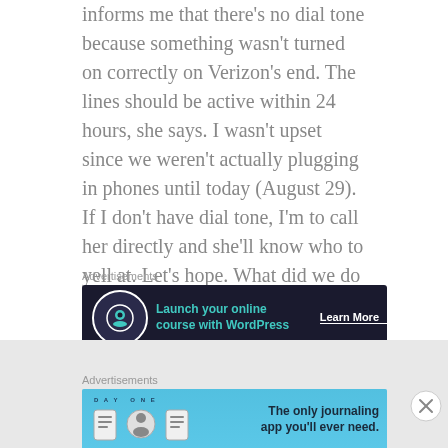informs me that there's no dial tone because something wasn't turned on correctly on Verizon's end. The lines should be active within 24 hours, she says. I wasn't upset since we weren't actually plugging in phones until today (August 29). If I don't have dial tone, I'm to call her directly and she'll know who to yell at. Let's hope. What did we do before cell phones?
[Figure (screenshot): Dark advertisement banner: 'Launch your online course with WordPress' with Learn More button]
This morning, I received an automated email from Verizon:
[Figure (screenshot): Light blue advertisement banner for Day One journaling app: 'The only journaling app you'll ever need.']